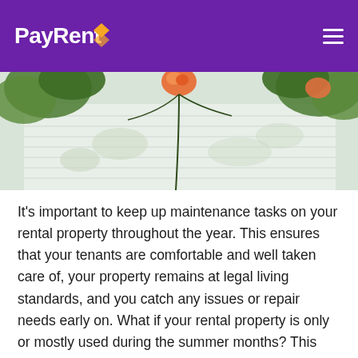PayRent
[Figure (photo): Exterior of a white house with climbing flowering vines and green foliage, sunlit with dappled shadows on the wall.]
It's important to keep up maintenance tasks on your rental property throughout the year. This ensures that your tenants are comfortable and well taken care of, your property remains at legal living standards, and you catch any issues or repair needs early on. What if your rental property is only or mostly used during the summer months? This tends to be true for those who own properties in